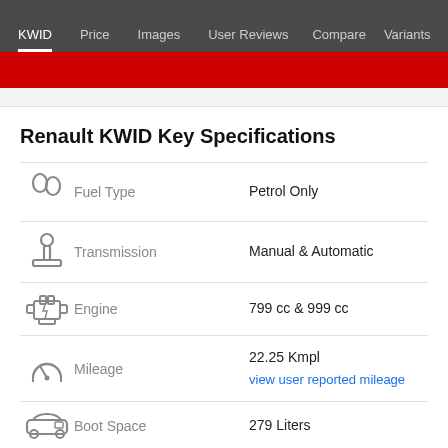KWID | Price | Images | User Reviews | Compare | Variants
Renault KWID Key Specifications
| Icon | Spec | Value |
| --- | --- | --- |
| fuel icon | Fuel Type | Petrol Only |
| transmission icon | Transmission | Manual & Automatic |
| engine icon | Engine | 799 cc & 999 cc |
| mileage icon | Mileage | 22.25 Kmpl
view user reported mileage |
| boot icon | Boot Space | 279 Liters |